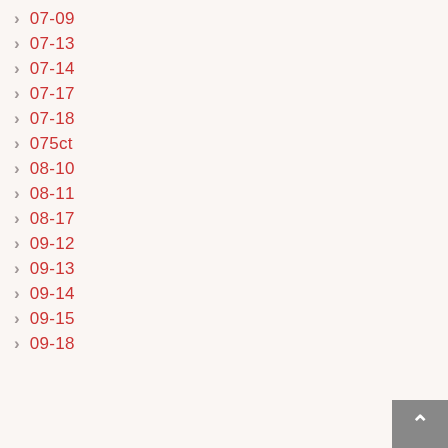07-09
07-13
07-14
07-17
07-18
075ct
08-10
08-11
08-17
09-12
09-13
09-14
09-15
09-18